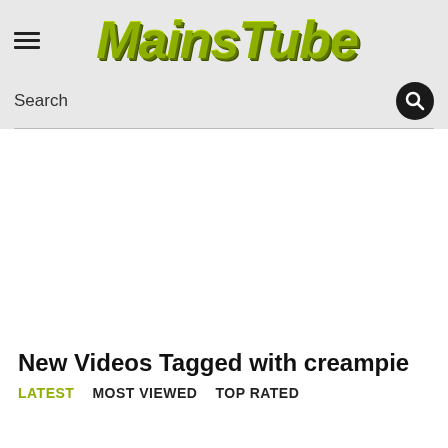MainsTube
Search
New Videos Tagged with creampie
LATEST   MOST VIEWED   TOP RATED